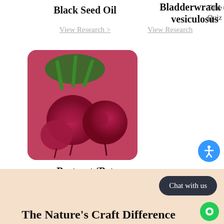Black Seed Oil
View Research >
Bladderwrack (f vesiculosus
View Research
Take Quiz
[Figure (photo): Close-up photo of fresh beetroot vegetables with stems and leaves, rounded purple-red bulbs, displayed together.]
Beetroot (Beta vulgaris)
View Research >
Chat with us
The Nature's Craft Difference